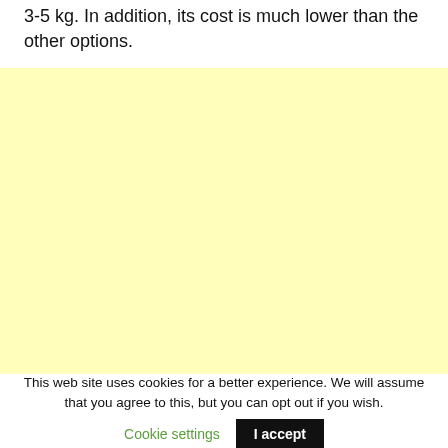3-5 kg. In addition, its cost is much lower than the other options.
[Figure (other): Yellow/light yellow advertisement placeholder block]
This web site uses cookies for a better experience. We will assume that you agree to this, but you can opt out if you wish. Cookie settings  I accept